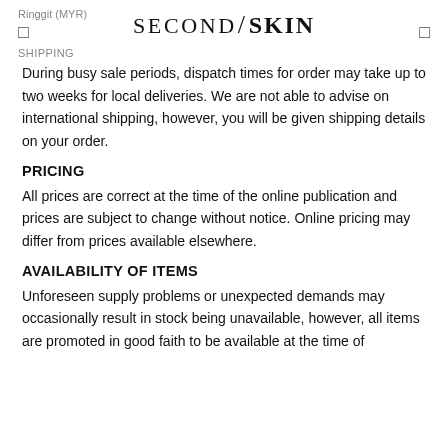Ringgit (MYR) | SECOND/SKIN | SHIPPING
During busy sale periods, dispatch times for order may take up to two weeks for local deliveries. We are not able to advise on international shipping, however, you will be given shipping details on your order.
PRICING
All prices are correct at the time of the online publication and prices are subject to change without notice. Online pricing may differ from prices available elsewhere.
AVAILABILITY OF ITEMS
Unforeseen supply problems or unexpected demands may occasionally result in stock being unavailable, however, all items are promoted in good faith to be available at the time of